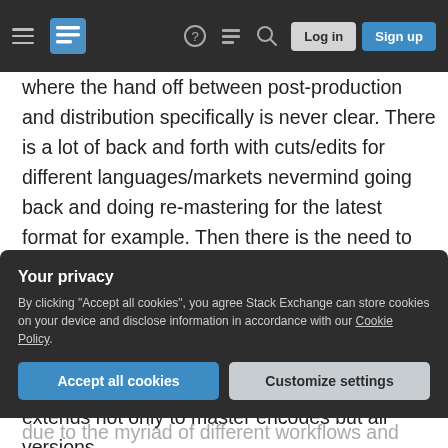Stack Exchange navigation bar with hamburger menu, logo, help, chat, search, Log in, Sign up
where the hand off between post-production and distribution specifically is never clear. There is a lot of back and forth with cuts/edits for different languages/markets nevermind going back and doing re-mastering for the latest format for example. Then there is the need to access final versions for marketing purposes... As a result the need for not only remote parties but people who may never meet to have a catalogued, definitive understanding of what version they need to work on is key. This extends not only to master encodes but all versions
Your privacy
By clicking "Accept all cookies", you agree Stack Exchange can store cookies on your device and disclose information in accordance with our Cookie Policy.
Accept all cookies   Customize settings
due to the myriad of different workflows and